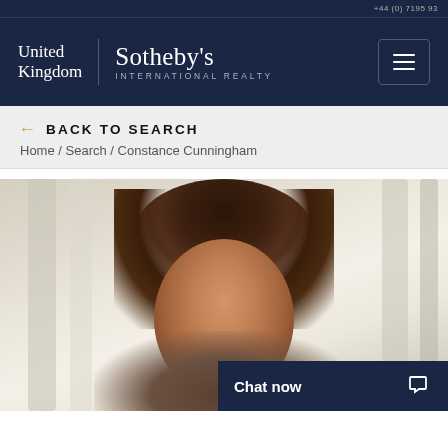United Kingdom | Sotheby's International Realty
← BACK TO SEARCH
Home / Search / Constance Cunningham
[Figure (photo): Professional headshot of Constance Cunningham, a woman with long dark brown hair, photographed against a blurred architectural background with white columns. A 'Chat now' button overlay appears in the bottom right corner.]